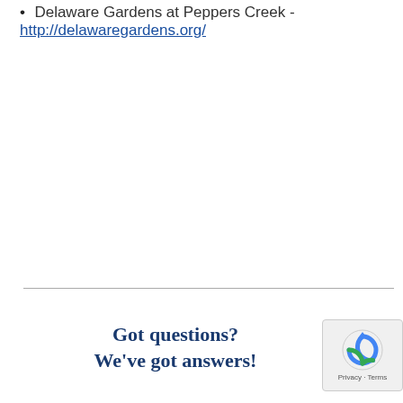Delaware Gardens at Peppers Creek - http://delawaregardens.org/
Got questions? We've got answers!